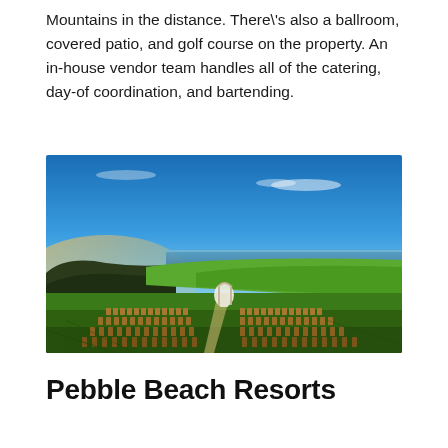Mountains in the distance. There's also a ballroom, covered patio, and golf course on the property. An in-house vendor team handles all of the catering, day-of coordination, and bartending.
[Figure (photo): Outdoor wedding ceremony setup on a coastal golf course. Rows of wooden chairs arranged in a semicircle on green grass, with an altar/arch in the center, ocean visible in the background, and blue sky above.]
Pebble Beach Resorts